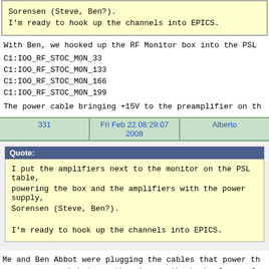Sorensen (Steve, Ben?).

I'm ready to hook up the channels into EPICS.
With Ben, we hooked up the RF Monitor box into the PSL
C1:IOO_RF_STOC_MON_33
C1:IOO_RF_STOC_MON_133
C1:IOO_RF_STOC_MON_166
C1:IOO_RF_STOC_MON_199
The power cable bringing +15V to the preamplifier on th
| 331 | Fri Feb 22 08:29:07 2008 | Alberto |
| --- | --- | --- |
Quote:
I put the amplifiers next to the monitor on the PSL table, powering the box and the amplifiers with the power supply, Sorensen (Steve, Ben?).

I'm ready to hook up the channels into EPICS.
Me and Ben Abbot were plugging the cables that power th some arcs spark between the pins on the back of one of MOPA stayed on. We also notice some smell of burn.